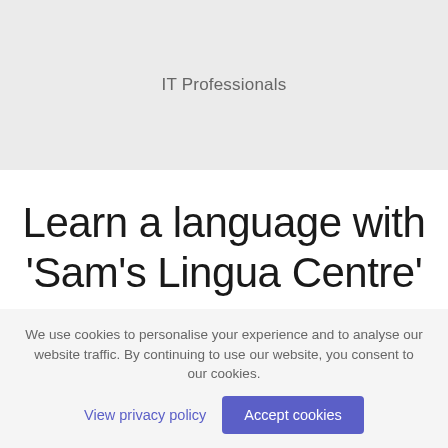IT Professionals
Learn a language with 'Sam's Lingua Centre'
We use cookies to personalise your experience and to analyse our website traffic. By continuing to use our website, you consent to our cookies.
View privacy policy | Accept cookies